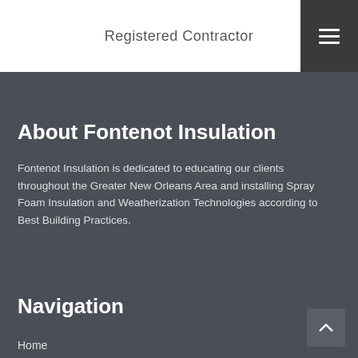Registered Contractor
About Fontenot Insulation
Fontenot Insulation is dedicated to educating our clients throughout the Greater New Orleans Area and installing Spray Foam Insulation and Weatherization Technologies according to Best Building Practices.
Navigation
Home